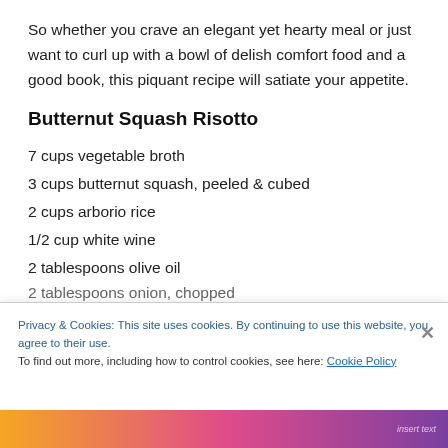So whether you crave an elegant yet hearty meal or just want to curl up with a bowl of delish comfort food and a good book, this piquant recipe will satiate your appetite.
Butternut Squash Risotto
7 cups vegetable broth
3 cups butternut squash, peeled & cubed
2 cups arborio rice
1/2 cup white wine
2 tablespoons olive oil
Privacy & Cookies: This site uses cookies. By continuing to use this website, you agree to their use.
To find out more, including how to control cookies, see here: Cookie Policy
Close and accept